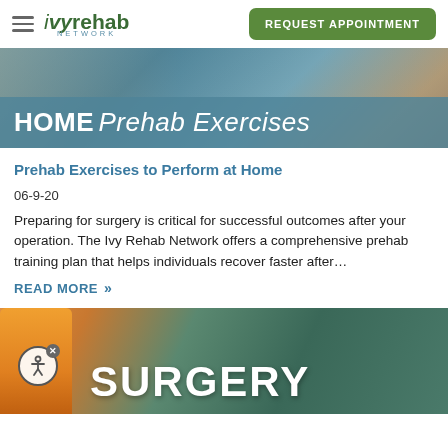Ivy Rehab Network — REQUEST APPOINTMENT
[Figure (photo): Header image with teal/blue background showing HOME Prehab Exercises title text overlay]
Prehab Exercises to Perform at Home
06-9-20
Preparing for surgery is critical for successful outcomes after your operation. The Ivy Rehab Network offers a comprehensive prehab training plan that helps individuals recover faster after…
READ MORE >>
[Figure (photo): Second article image showing prescription bottles and the word SURGERY in large white bold text]